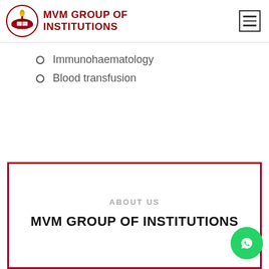MVM GROUP OF INSTITUTIONS
Immunohaematology
Blood transfusion
ABOUT US
MVM GROUP OF INSTITUTIONS